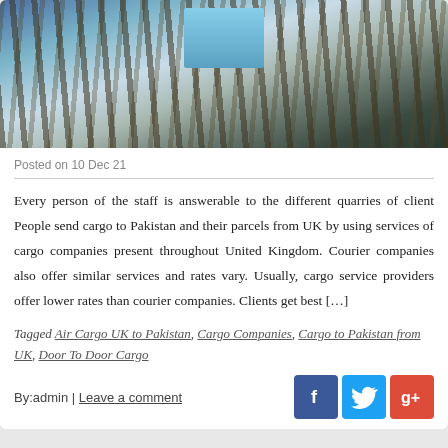[Figure (photo): Aerial or upward-looking photo of cargo shipping containers and industrial port cranes with steel structures]
Posted on 10 Dec 21
Every person of the staff is answerable to the different quarries of client People send cargo to Pakistan and their parcels from UK by using services of cargo companies present throughout United Kingdom. Courier companies also offer similar services and rates vary. Usually, cargo service providers offer lower rates than courier companies. Clients get best […]
Tagged Air Cargo UK to Pakistan, Cargo Companies, Cargo to Pakistan from UK, Door To Door Cargo
By:admin | Leave a comment
Air Cargo to Pakistan is a Hope to Get Better Opportunities of Trading from the UK